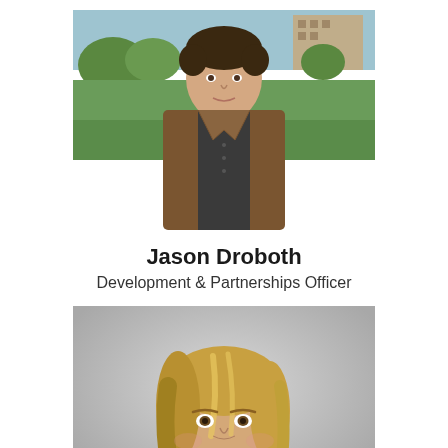[Figure (photo): Headshot of Jason Droboth, a man with dark hair wearing a brown blazer over a dark shirt, standing outdoors with green grass and trees in the background]
Jason Droboth
Development & Partnerships Officer
[Figure (photo): Headshot of a woman with medium-length blonde/brown hair, smiling, against a light gray studio background]